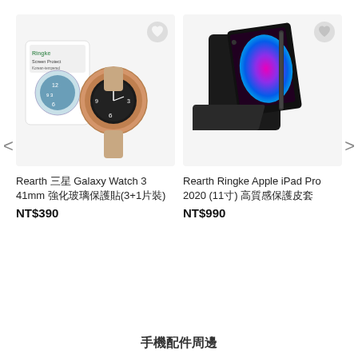[Figure (photo): Rearth Samsung Galaxy Watch 3 41mm screen protector and watch product photo]
[Figure (photo): Rearth Ringke Apple iPad Pro 2020 11-inch protective leather case product photo]
Rearth 三星 Galaxy Watch 3 41mm 強化玻璃保護貼(3+1片裝)
NT$390
Rearth Ringke Apple iPad Pro 2020 (11寸) 高質感保護皮套
NT$990
手機配件周邊